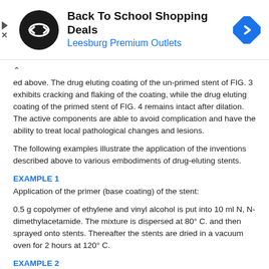[Figure (other): Advertisement banner for Back To School Shopping Deals at Leesburg Premium Outlets, with a black circular logo with arrows, and a blue diamond navigation icon.]
ed above. The drug eluting coating of the un-primed stent of FIG. 3 exhibits cracking and flaking of the coating, while the drug eluting coating of the primed stent of FIG. 4 remains intact after dilation. The active components are able to avoid complication and have the ability to treat local pathological changes and lesions.
The following examples illustrate the application of the inventions described above to various embodiments of drug-eluting stents.
EXAMPLE 1
Application of the primer (base coating) of the stent:
0.5 g copolymer of ethylene and vinyl alcohol is put into 10 ml N, N-dimethylacetamide. The mixture is dispersed at 80° C. and then sprayed onto stents. Thereafter the stents are dried in a vacuum oven for 2 hours at 120° C.
EXAMPLE 2
Barrier layer-preparation of parylene coating:
The present invention provides parylene and its derivatives as release